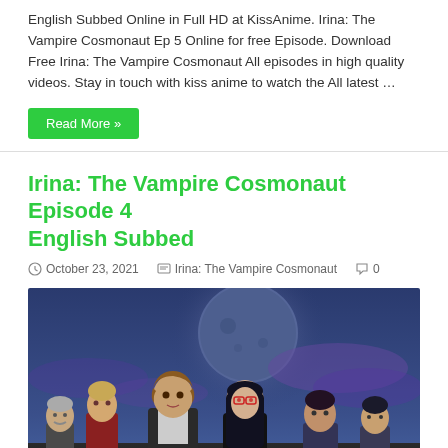English Subbed Online in Full HD at KissAnime. Irina: The Vampire Cosmonaut Ep 5 Online for free Episode. Download Free Irina: The Vampire Cosmonaut All episodes in high quality videos. Stay in touch with kiss anime to watch the All latest …
Read More »
Irina: The Vampire Cosmonaut Episode 4 English Subbed
October 23, 2021   Irina: The Vampire Cosmonaut   0
[Figure (illustration): Anime promotional image showing multiple characters from Irina: The Vampire Cosmonaut standing against a blue night sky with a large moon in the background.]